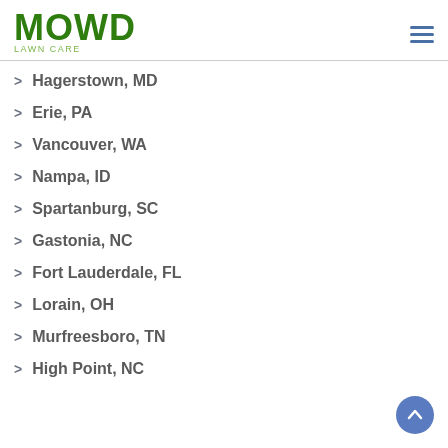MOWD
Hagerstown, MD
Erie, PA
Vancouver, WA
Nampa, ID
Spartanburg, SC
Gastonia, NC
Fort Lauderdale, FL
Lorain, OH
Murfreesboro, TN
High Point, NC